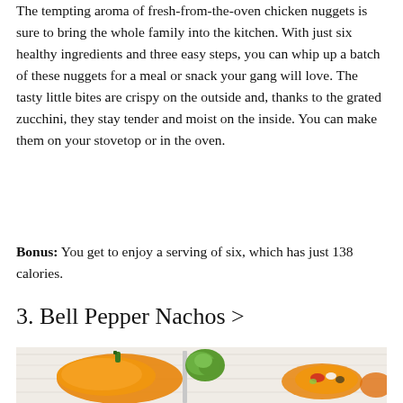The tempting aroma of fresh-from-the-oven chicken nuggets is sure to bring the whole family into the kitchen. With just six healthy ingredients and three easy steps, you can whip up a batch of these nuggets for a meal or snack your gang will love. The tasty little bites are crispy on the outside and, thanks to the grated zucchini, they stay tender and moist on the inside. You can make them on your stovetop or in the oven.
Bonus: You get to enjoy a serving of six, which has just 138 calories.
3. Bell Pepper Nachos >
[Figure (photo): Photo of colorful bell peppers and stuffed pepper nachos on a white wooden surface, with herbs and toppings visible]